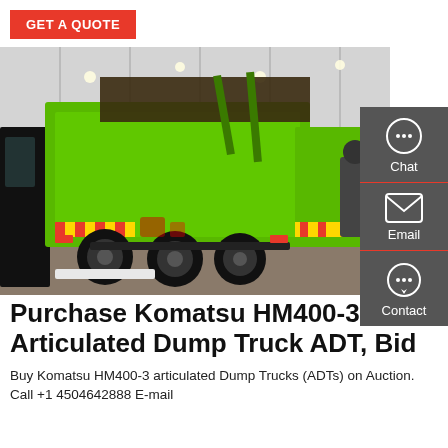GET A QUOTE
[Figure (photo): Green Komatsu HM400-3 articulated dump truck photographed from the rear in an indoor exhibition hall, showing the raised dump bed and multiple rear axles.]
Purchase Komatsu HM400-3 Articulated Dump Truck ADT, Bid
Buy Komatsu HM400-3 articulated Dump Trucks (ADTs) on Auction. Call +1 4504642888 E-mail